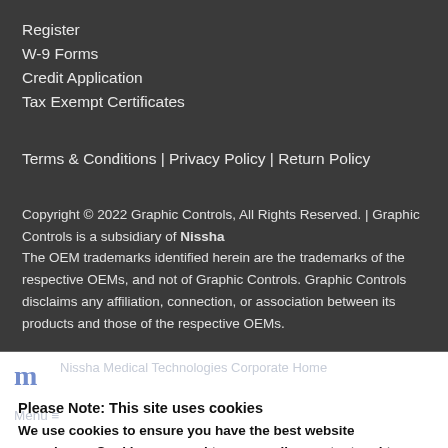Register
W-9 Forms
Credit Application
Tax Exempt Certificates
Terms & Conditions | Privacy Policy | Return Policy
Copyright © 2022 Graphic Controls, All Rights Reserved. | Graphic Controls is a subsidiary of Nissha
The OEM trademarks identified herein are the trademarks of the respective OEMs, and not of Graphic Controls. Graphic Controls disclaims any affiliation, connection, or association between its products and those of the respective OEMs.
Please Note: This site uses cookies
We use cookies to ensure you have the best website experience. Cookies are used to personalize content and to analyze our web traffic. Please accept cookies for optimal